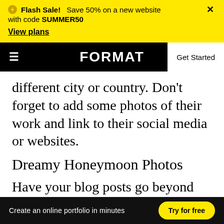Flash Sale! Save 50% on a new website with code SUMMER50 View plans
FORMAT Get Started
different city or country. Don't forget to add some photos of their work and link to their social media or websites.
Dreamy Honeymoon Photos
Have your blog posts go beyond the wedding
Create an online portfolio in minutes   Try for free